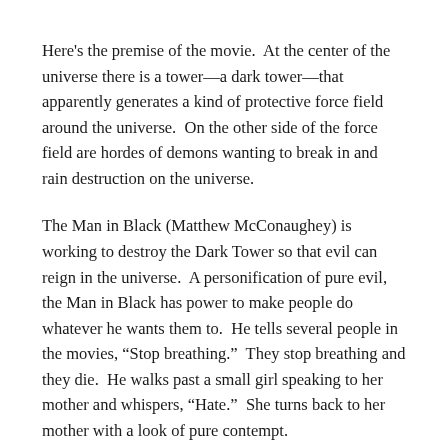Here's the premise of the movie.  At the center of the universe there is a tower—a dark tower—that apparently generates a kind of protective force field around the universe.  On the other side of the force field are hordes of demons wanting to break in and rain destruction on the universe.
The Man in Black (Matthew McConaughey) is working to destroy the Dark Tower so that evil can reign in the universe.  A personification of pure evil, the Man in Black has power to make people do whatever he wants them to.  He tells several people in the movies, “Stop breathing.”  They stop breathing and they die.  He walks past a small girl speaking to her mother and whispers, “Hate.”  She turns back to her mother with a look of pure contempt.